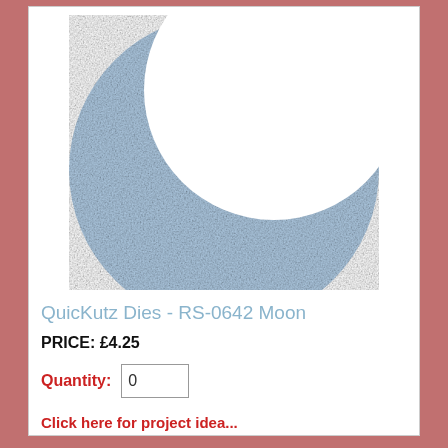[Figure (photo): A light blue crescent moon shape (fabric/felt texture) on a white background, oriented with the opening facing upper right.]
QuicKutz Dies - RS-0642 Moon
PRICE: £4.25
Quantity: 0
Click here for project idea...